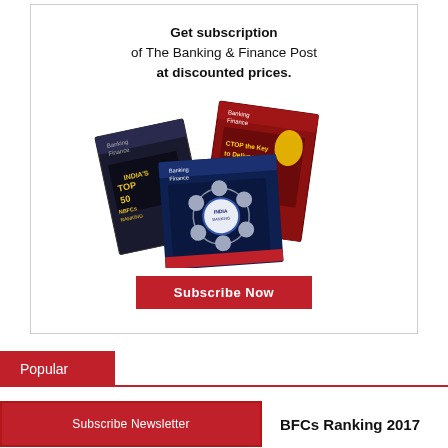[Figure (illustration): Advertisement for The Banking & Finance Post subscription with stacked magazine covers and a Subscribe Now button]
Popular
Subscribe Newsletter
BFCs Ranking 2017